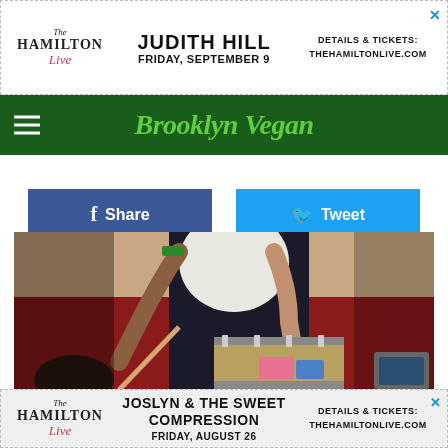[Figure (screenshot): Hamilton Live advertisement banner for Judith Hill, Friday September 9, with details at thehamiltonlive.com]
[Figure (logo): Brooklyn Vegan website logo in green italic script on dark green navigation bar with hamburger menu]
[Figure (infographic): Facebook Share button (blue) and Twitter Tweet button (light blue) social sharing buttons]
[Figure (photo): Close-up photo of a musician's hands playing percussion with a drumstick on a snare drum, wearing white t-shirt and dark jeans, red background visible]
[Figure (screenshot): Hamilton Live advertisement banner for Joslyn & The Sweet Compression, Friday August 26, with details at thehamiltonlive.com]